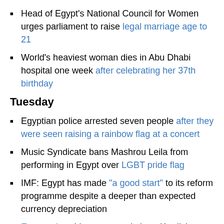Head of Egypt's National Council for Women urges parliament to raise legal marriage age to 21
World's heaviest woman dies in Abu Dhabi hospital one week after celebrating her 37th birthday
Tuesday
Egyptian police arrested seven people after they were seen raising a rainbow flag at a concert
Music Syndicate bans Mashrou Leila from performing in Egypt over LGBT pride flag
IMF: Egypt has made "a good start" to its reform programme despite a deeper than expected currency depreciation
Egypt voices 'deep concern' about Kurdish independence vote
British Thomas Cook to resume flights to Egypt due to